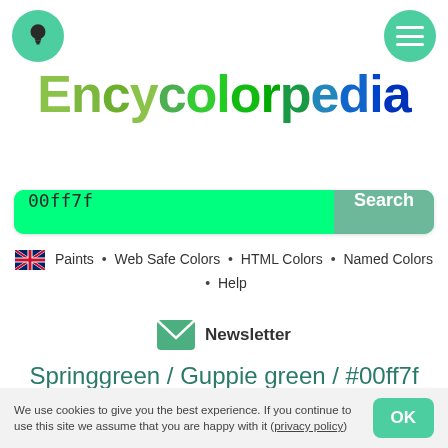Encycolorpedia header with bulb and menu icons
Encycolorpedia
00ff7f Search
Paints • Web Safe Colors • HTML Colors • Named Colors • Help
Newsletter
Springgreen / Guppie green / #00ff7f Hex Color Code
We use cookies to give you the best experience. If you continue to use this site we assume that you are happy with it (privacy policy)